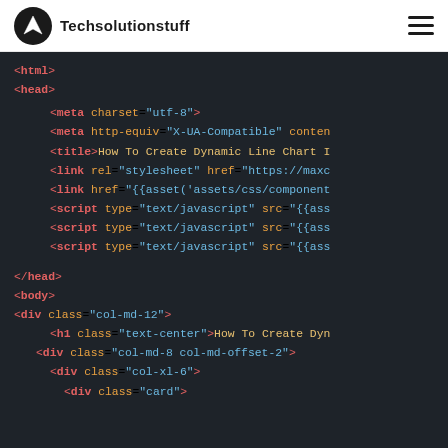Techsolutionstuff
[Figure (screenshot): Dark-theme code editor screenshot showing HTML source code with syntax highlighting: tag names in red, attribute names in yellow/orange, attribute values in teal/blue. Code includes <html>, <head>, <meta>, <title>, <link>, <script>, </head>, <body>, <div class="col-md-12">, <h1 class="text-center">, <div class="col-md-8 col-md-offset-2">, <div class="col-xl-6">, <div class="card"> elements.]